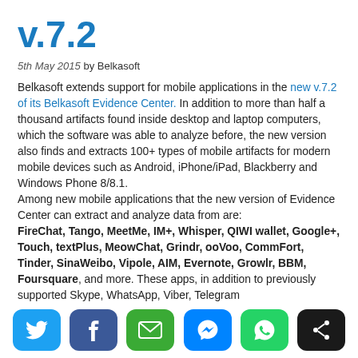v.7.2
5th May 2015 by Belkasoft
Belkasoft extends support for mobile applications in the new v.7.2 of its Belkasoft Evidence Center. In addition to more than half a thousand artifacts found inside desktop and laptop computers, which the software was able to analyze before, the new version also finds and extracts 100+ types of mobile artifacts for modern mobile devices such as Android, iPhone/iPad, Blackberry and Windows Phone 8/8.1. Among new mobile applications that the new version of Evidence Center can extract and analyze data from are: FireChat, Tango, MeetMe, IM+, Whisper, QIWI wallet, Google+, Touch, textPlus, MeowChat, Grindr, ooVoo, CommFort, Tinder, SinaWeibo, Vipole, AIM, Evernote, Growlr, BBM, Foursquare, and more. These apps, in addition to previously supported Skype, WhatsApp, Viber, Telegram
[Figure (infographic): Social share buttons: Twitter, Facebook, Email, Messenger, WhatsApp, Share]